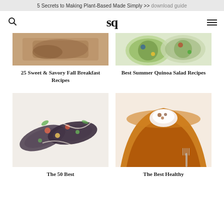5 Secrets to Making Plant-Based Made Simply >> download guide
[Figure (logo): sq logo in bold serif font with search icon and hamburger menu]
[Figure (photo): Food photo showing fall breakfast dishes]
25 Sweet & Savory Fall Breakfast Recipes
[Figure (photo): Food photo showing quinoa salad in bowls]
Best Summer Quinoa Salad Recipes
[Figure (photo): Food photo showing stuffed eggplant halves with toppings]
The 50 Best
[Figure (photo): Food photo showing a slice of pumpkin pie with whipped cream]
The Best Healthy